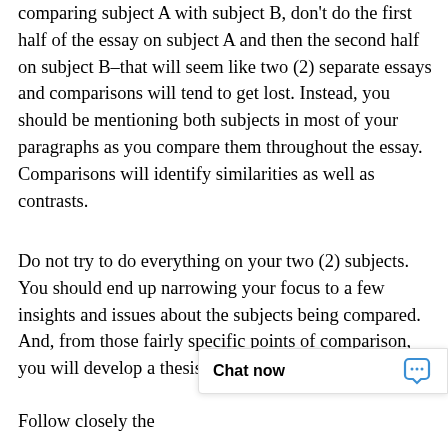comparing subject A with subject B, don't do the first half of the essay on subject A and then the second half on subject B–that will seem like two (2) separate essays and comparisons will tend to get lost. Instead, you should be mentioning both subjects in most of your paragraphs as you compare them throughout the essay. Comparisons will identify similarities as well as contrasts.
Do not try to do everything on your two (2) subjects. You should end up narrowing your focus to a few insights and issues about the subjects being compared. And, from those fairly specific points of comparison, you will develop a thesis and glean some lessons
Follow closely the